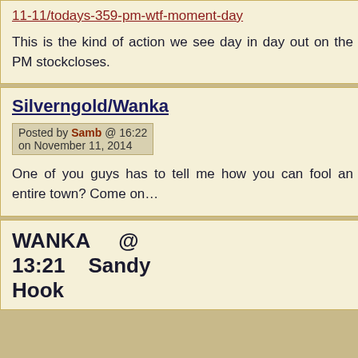11-11/todays-359-pm-wtf-moment-day
This is the kind of action we see day in day out on the PM stockcloses.
Silverngold/Wanka
Posted by Samb @ 16:22 on November 11, 2014
One of you guys has to tell me how you can fool an entire town? Come on…
WANKA @ 13:21 Sandy Hook